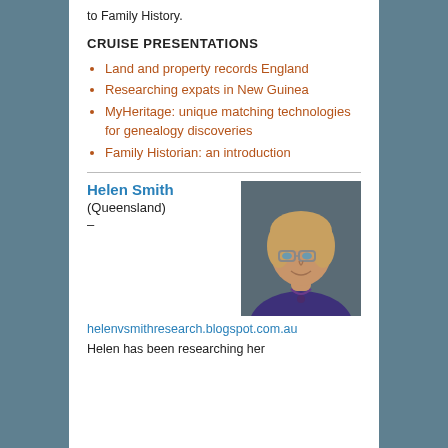to Family History.
CRUISE PRESENTATIONS
Land and property records England
Researching expats in New Guinea
MyHeritage: unique matching technologies for genealogy discoveries
Family Historian: an introduction
Helen Smith
(Queensland)
–
[Figure (photo): Portrait photo of Helen Smith, a woman with blonde hair and glasses, wearing a purple top and necklace, against a dark grey background.]
helenvsmithresearch.blogspot.com.au
Helen has been researching her